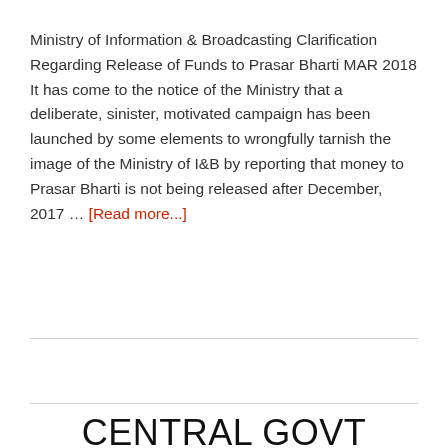Ministry of Information & Broadcasting Clarification Regarding Release of Funds to Prasar Bharti MAR 2018 It has come to the notice of the Ministry that a deliberate, sinister, motivated campaign has been launched by some elements to wrongfully tarnish the image of the Ministry of I&B by reporting that money to Prasar Bharti is not being released after December, 2017 … [Read more...]
CENTRAL GOVT HOLIDAY LIST 2023